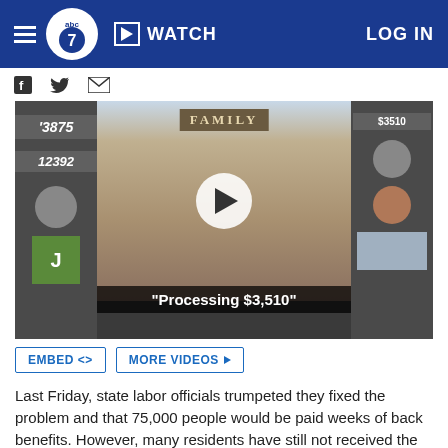abc7 WATCH LOG IN
[Figure (screenshot): Social share icons: Facebook, Twitter, Email]
[Figure (photo): Video thumbnail showing a family sitting on a couch with text overlay 'Processing $3,510'. Left side shows numbers 3875 and 2392. Play button in center.]
EMBED <> MORE VIDEOS ▶
Last Friday, state labor officials trumpeted they fixed the problem and that 75,000 people would be paid weeks of back benefits. However, many residents have still not received the